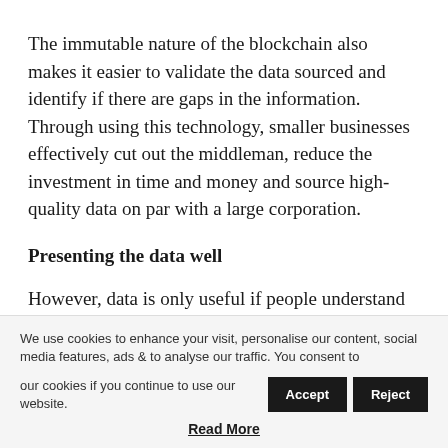The immutable nature of the blockchain also makes it easier to validate the data sourced and identify if there are gaps in the information. Through using this technology, smaller businesses effectively cut out the middleman, reduce the investment in time and money and source high-quality data on par with a large corporation.
Presenting the data well
However, data is only useful if people understand it. Companies finishing the data collection process can
We use cookies to enhance your visit, personalise our content, social media features, ads & to analyse our traffic. You consent to our cookies if you continue to use our website.
Read More